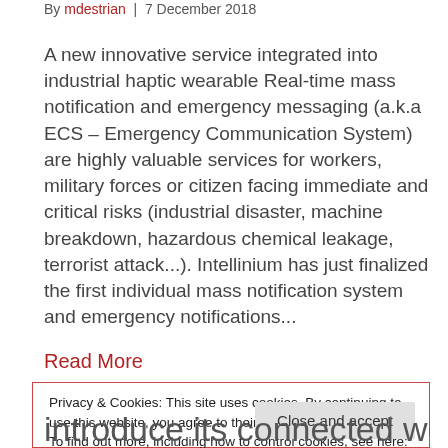By mdestrian | 7 December 2018
A new innovative service integrated into industrial haptic wearable Real-time mass notification and emergency messaging (a.k.a ECS – Emergency Communication System) are highly valuable services for workers, military forces or citizen facing immediate and critical risks (industrial disaster, machine breakdown, hazardous chemical leakage, terrorist attack...). Intellinium has just finalized the first individual mass notification system and emergency notifications...
Read More
Privacy & Cookies: This site uses cookies. By continuing to use this website, you agree to their use.
To find out more, including how to control cookies, see here: Cookie Policy
Close and accept
introduce its connected worker